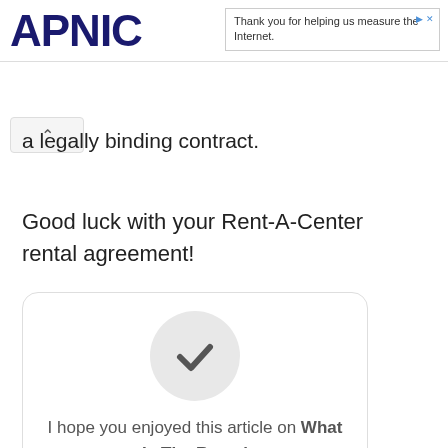APNIC — Thank you for helping us measure the Internet.
a legally binding contract.
Good luck with your Rent-A-Center rental agreement!
[Figure (illustration): A rounded card with a gray circle containing a dark checkmark icon, followed by text 'I hope you enjoyed this article on What Is The Rental']
I hope you enjoyed this article on What Is The Rental